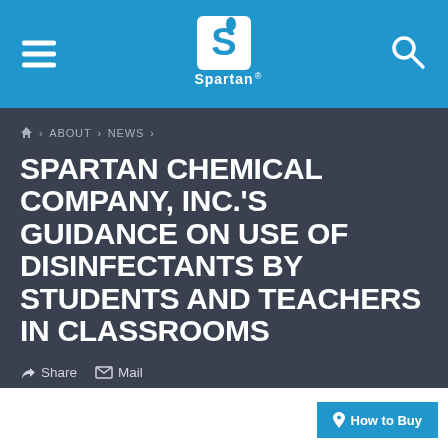Spartan Chemical Company — Navigation header with logo
Home > ABOUT > NEWS >
SPARTAN CHEMICAL COMPANY, INC.'S GUIDANCE ON USE OF DISINFECTANTS BY STUDENTS AND TEACHERS IN CLASSROOMS
Share  Mail